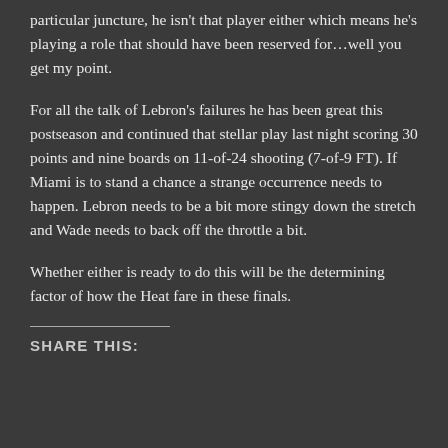particular juncture, he isn't that player either which means he's playing a role that should have been reserved for…well you get my point.
For all the talk of Lebron's failures he has been great this postseason and continued that stellar play last night scoring 30 points and nine boards on 11-of-24 shooting (7-of-9 FT). If Miami is to stand a chance a strange occurrence needs to happen. Lebron needs to be a bit more stingy down the stretch and Wade needs to back off the throttle a bit.
Whether either is ready to do this will be the determining factor of how the Heat fare in these finals.
SHARE THIS: